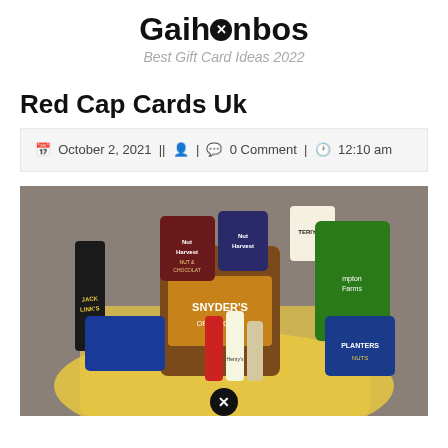Gaihonbos
Best Gift Card Ideas 2022
Red Cap Cards Uk
October 2, 2021 || [person icon] | [comment icon] 0 Comment | [clock icon] 12:10 am
[Figure (photo): A gift basket filled with snacks including Snyder's of Hanover pretzels, Nut Harvest nut and chocolate mix, Jack Link's beef jerky, Hampton Farms nuts, Planters nuts, Teriyaki jerky, hot sauce bottles, and mini liquor bottles arranged in a yellow basket.]